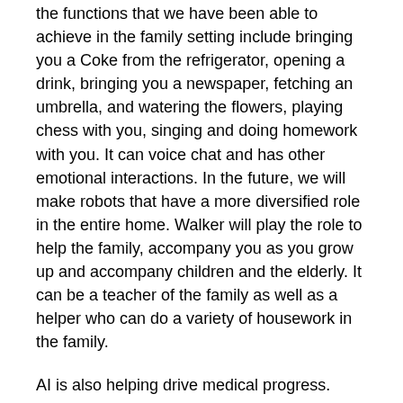the functions that we have been able to achieve in the family setting include bringing you a Coke from the refrigerator, opening a drink, bringing you a newspaper, fetching an umbrella, and watering the flowers, playing chess with you, singing and doing homework with you. It can voice chat and has other emotional interactions. In the future, we will make robots that have a more diversified role in the entire home. Walker will play the role to help the family, accompany you as you grow up and accompany children and the elderly. It can be a teacher of the family as well as a helper who can do a variety of housework in the family.
AI is also helping drive medical progress. Morphogo is a bone marrow cytomorphology analysis system. It can make a diagnosis within 1 day compared to the usual 5 to 10 days with traditional hospital methods.
Yang Chuhu, ZhiWei Information Technology Co.